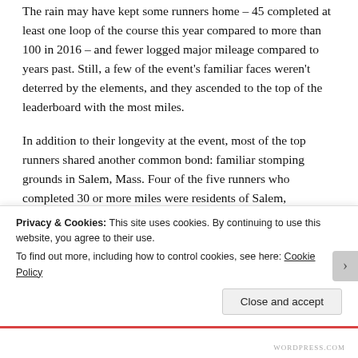The rain may have kept some runners home – 45 completed at least one loop of the course this year compared to more than 100 in 2016 – and fewer logged major mileage compared to years past. Still, a few of the event's familiar faces weren't deterred by the elements, and they ascended to the top of the leaderboard with the most miles.
In addition to their longevity at the event, most of the top runners shared another common bond: familiar stomping grounds in Salem, Mass. Four of the five runners who completed 30 or more miles were residents of Salem, including both the men's and women's champions.
Greg Esbitt didn't take part in the Mother's Day run in 2016,
Privacy & Cookies: This site uses cookies. By continuing to use this website, you agree to their use.
To find out more, including how to control cookies, see here: Cookie Policy
Close and accept